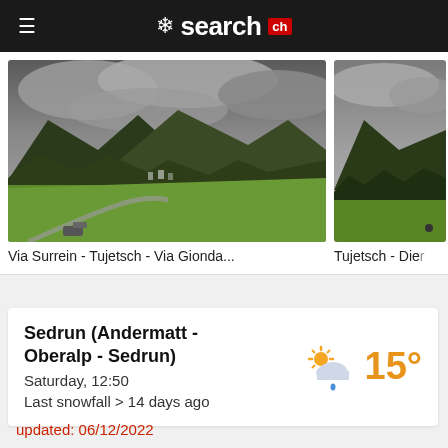search.ch
[Figure (photo): Webcam image of Via Surrein - Tujetsch - Via Gionda, showing mountain valley with green fields, overcast skies, and alpine village]
Via Surrein - Tujetsch - Via Gionda...
[Figure (photo): Webcam image of Tujetsch - Dier, showing forested mountain hillside under cloudy skies]
Tujetsch - Dier
Sedrun (Andermatt - Oberalp - Sedrun)
Saturday, 12:50
Last snowfall > 14 days ago
15°
updated: 06/12/2022